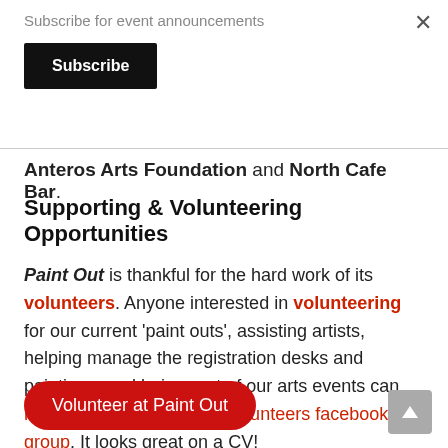Subscribe for event announcements
Subscribe
Anteros Arts Foundation and North Cafe Bar.
Supporting & Volunteering Opportunities
Paint Out is thankful for the hard work of its volunteers. Anyone interested in volunteering for our current 'paint outs', assisting artists, helping manage the registration desks and paintings, and being part of our arts events can register online or join our volunteers facebook group. It looks great on a CV!
Volunteer at Paint Out